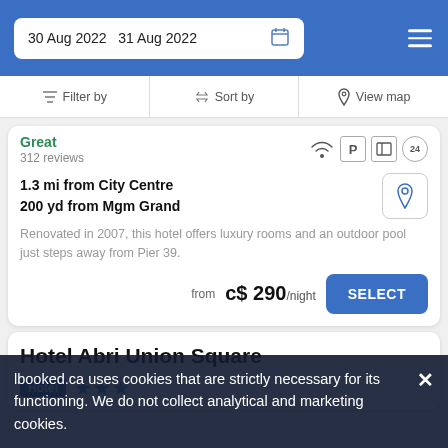30 Aug 2022  31 Aug 2022
Filter by  Sort by  View map
Great
312 reviews
1.3 mi from City Centre
200 yd from Mgm Grand
Renovated in 2007, this hotel offers luxury rooms and an outdoor pool just steps away from Pier 39.
from  c$ 290/night
Hotel Abri Union Square
Hotel ★★★
lbooked.ca uses cookies that are strictly necessary for its functioning. We do not collect analytical and marketing cookies.